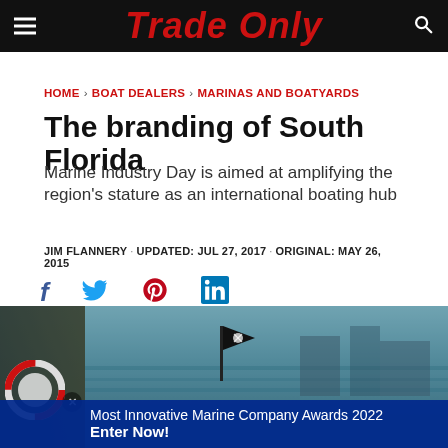Trade Only
HOME > BOAT DEALERS > MARINAS AND BOATYARDS
The branding of South Florida
Marine Industry Day is aimed at amplifying the region's stature as an international boating hub
JIM FLANNERY · UPDATED: JUL 27, 2017 · ORIGINAL: MAY 26, 2015
[Figure (other): Social media share icons: Facebook, Twitter, Pinterest, LinkedIn]
[Figure (photo): Marina waterway scene with a pirate flag visible on a boat, left side shows a partial life ring, overlay advertisement banner reading 'Most Innovative Marine Company Awards 2022 Enter Now!']